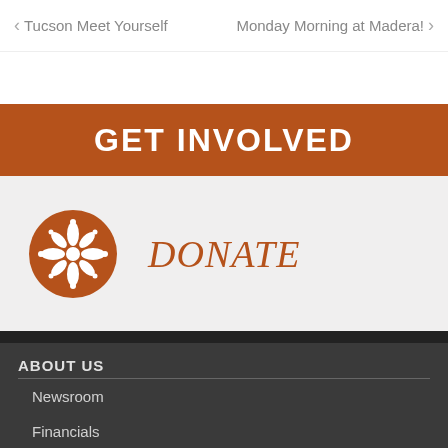‹ Tucson Meet Yourself   Monday Morning at Madera! ›
GET INVOLVED
[Figure (logo): Circular orange badge with ornamental snowflake/flower pattern in white]
DONATE
ABOUT US
Newsroom
Financials
OUR WORK
Sky Island FotoFauna
Translate »